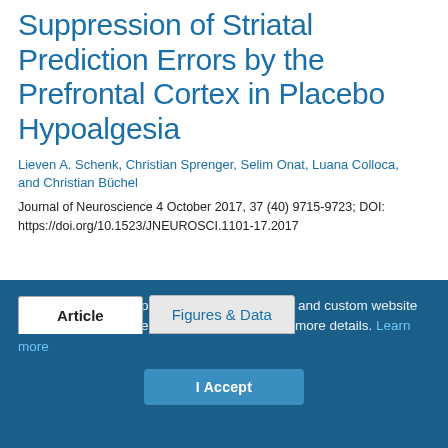Suppression of Striatal Prediction Errors by the Prefrontal Cortex in Placebo Hypoalgesia
Lieven A. Schenk, Christian Sprenger, Selim Onat, Luana Colloca, and Christian Büchel
Journal of Neuroscience 4 October 2017, 37 (40) 9715-9723; DOI: https://doi.org/10.1523/JNEUROSCI.1101-17.2017
Article | Figures & Data
SfN uses cookies to provide you with a secure and custom website experience. Please read our privacy policy for more details. Learn more
I Accept